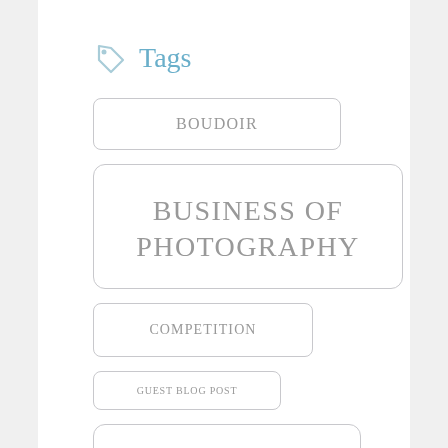Tags
BOUDOIR
BUSINESS OF PHOTOGRAPHY
COMPETITION
GUEST BLOG POST
IN PERSON SALES
LIGHTING